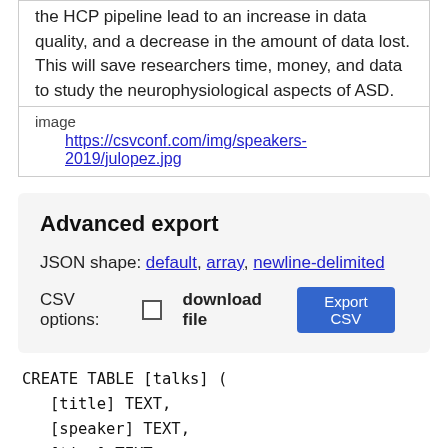the HCP pipeline lead to an increase in data quality, and a decrease in the amount of data lost. This will save researchers time, money, and data to study the neurophysiological aspects of ASD.
image
https://csvconf.com/img/speakers-2019/julopez.jpg
Advanced export
JSON shape: default, array, newline-delimited
CSV options: [ ] download file  Export CSV
CREATE TABLE [talks] (
   [title] TEXT,
   [speaker] TEXT,
   [time] TEXT,
   [day] TEXT,